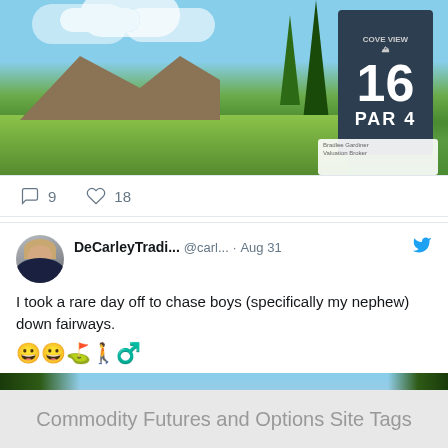[Figure (photo): Golf course sign showing hole 16, Par 4, Cove View, with mountains and trees in background]
9   18
[Figure (screenshot): Tweet from DeCarleyTradi... @carl... · Aug 31 - I took a rare day off to chase boys (specifically my nephew) down fairways. 😀😀⛳🚶♂️]
[Figure (photo): Golf course panoramic view with trees and mountains in background]
Commodity Futures and Options Site Tags